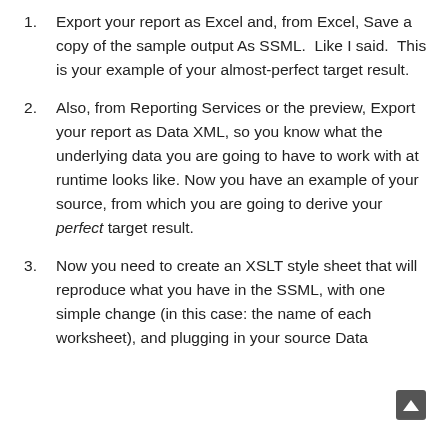Export your report as Excel and, from Excel, Save a copy of the sample output As SSML. Like I said. This is your example of your almost-perfect target result.
Also, from Reporting Services or the preview, Export your report as Data XML, so you know what the underlying data you are going to have to work with at runtime looks like. Now you have an example of your source, from which you are going to derive your perfect target result.
Now you need to create an XSLT style sheet that will reproduce what you have in the SSML, with one simple change (in this case: the name of each worksheet), and plugging in your source Data